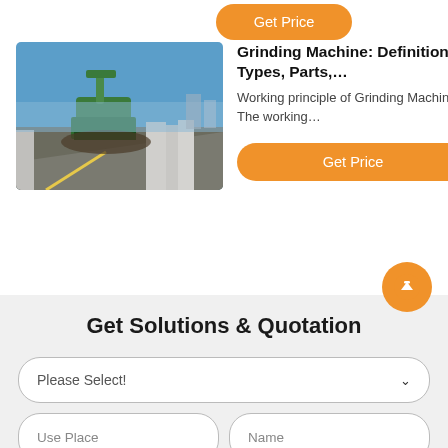[Figure (other): Orange 'Get Price' button at top]
[Figure (photo): Outdoor photo of a road construction site with a green machine and concrete barriers along a highway]
Grinding Machine: Definition, Types, Parts,…
Working principle of Grinding Machine: The working…
[Figure (other): Orange 'Get Price' button]
[Figure (other): Orange scroll-to-top circular button with upward arrow]
Get Solutions & Quotation
Please Select!
Use Place
Name